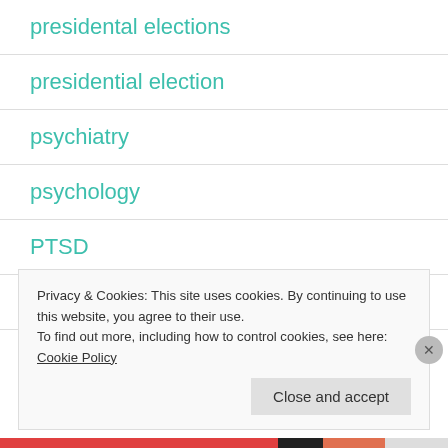presidental elections
presidential election
psychiatry
psychology
PTSD
puns
Privacy & Cookies: This site uses cookies. By continuing to use this website, you agree to their use.
To find out more, including how to control cookies, see here: Cookie Policy
Close and accept